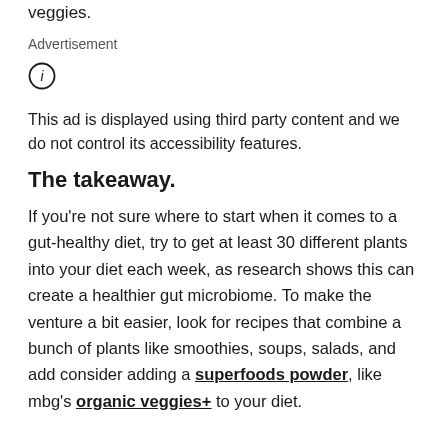veggies.
Advertisement
This ad is displayed using third party content and we do not control its accessibility features.
The takeaway.
If you're not sure where to start when it comes to a gut-healthy diet, try to get at least 30 different plants into your diet each week, as research shows this can create a healthier gut microbiome. To make the venture a bit easier, look for recipes that combine a bunch of plants like smoothies, soups, salads, and add consider adding a superfoods powder, like mbg's organic veggies+ to your diet.